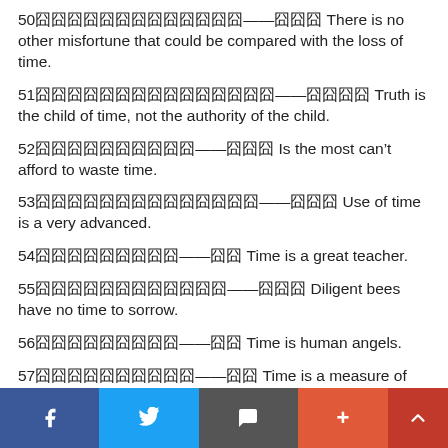50囧囧囧囧囧囧囧囧囧囧囧囧囧——囧囧囧 There is no other misfortune that could be compared with the loss of time.
51囧囧囧囧囧囧囧囧囧囧囧囧囧囧囧——囧囧囧囧 Truth is the child of time, not the authority of the child.
52囧囧囧囧囧囧囧囧囧囧——囧囧囧 Is the most can't afford to waste time.
53囧囧囧囧囧囧囧囧囧囧囧囧囧囧——囧囧囧 Use of time is a very advanced.
54囧囧囧囧囧囧囧囧囧——囧囧 Time is a great teacher.
55囧囧囧囧囧囧囧囧囧囧囧囧——囧囧囧 Diligent bees have no time to sorrow.
56囧囧囧囧囧囧囧囧囧——囧囧 Time is human angels.
57囧囧囧囧囧囧囧囧囧囧——囧囧 Time is a measure of enterprise.
Social share bar with Facebook, Twitter, Email, Plus, Up buttons